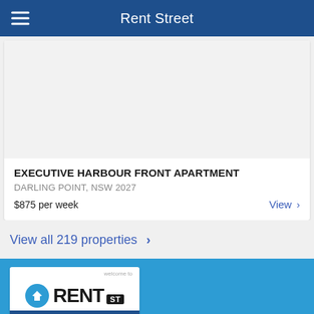Rent Street
[Figure (screenshot): Property image placeholder (light grey)]
EXECUTIVE HARBOUR FRONT APARTMENT
DARLING POINT, NSW 2027
$875 per week   View >
View all 219 properties >
[Figure (logo): Rent Street logo — circular blue icon with house/arrow, RENT ST text, welcome to header, www.rentstreet.com.au URL]
Rent Street
Ph: 1300 811 315